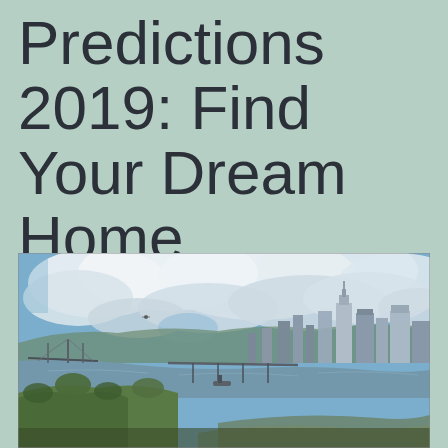Predictions 2019: Find Your Dream Home
[Figure (photo): Aerial panoramic cityscape view of a river city with downtown skyline, bridges over water, green hillside in foreground, and cloudy sky above. Likely St. Paul or a Midwest US city.]